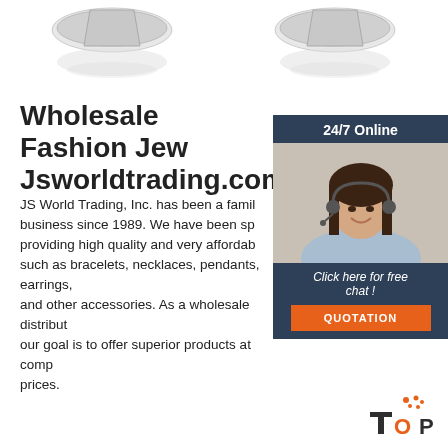[Figure (photo): Two jewelry/ring product photos with reflections shown side by side at the top of the page]
Wholesale Fashion Jewelry - Jsworldtrading.com
JS World Trading, Inc. has been a family business since 1989. We have been specializing in providing high quality and very affordable jewelry such as bracelets, necklaces, pendants, earrings, and other accessories. As a wholesale distributor, our goal is to offer superior products at competitive prices.
[Figure (infographic): 24/7 Online chat widget with dark blue background, photo of female customer service agent with headset, 'Click here for free chat!' text, and orange QUOTATION button]
[Figure (logo): TOP logo in orange and dark color at bottom right]